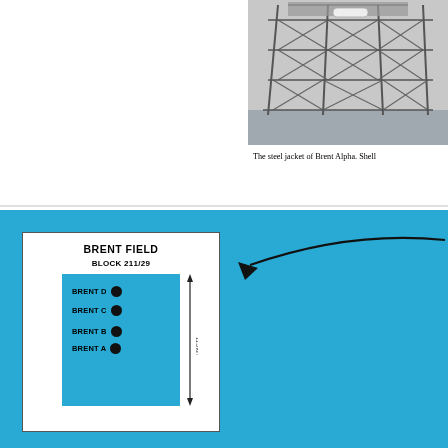[Figure (photo): Black and white photograph of the steel jacket of Brent Alpha platform by Shell, showing a complex truss/lattice steel structure]
The steel jacket of Brent Alpha. Shell
[Figure (map): Map diagram showing Brent Field, Block 211/29, with four platform locations: Brent D, Brent C, Brent B, and Brent A marked with filled circles on a blue background. A dimension arrow shows 11.3 km. A curved arrow points from the map to a larger blue area on the right.]